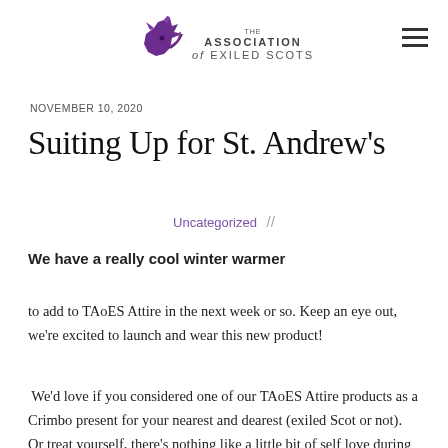THE ASSOCIATION OF EXILED SCOTS
NOVEMBER 10, 2020
Suiting Up for St. Andrew's
Uncategorized //
We have a really cool winter warmer
to add to TAoES Attire in the next week or so. Keep an eye out, we're excited to launch and wear this new product!
We'd love if you considered one of our TAoES Attire products as a Crimbo present for your nearest and dearest (exiled Scot or not). Or treat yourself, there's nothing like a little bit of self love during these times. We personalise all